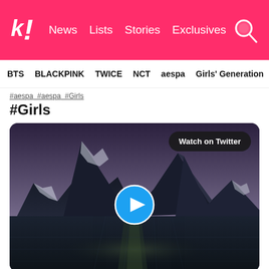k! News  Lists  Stories  Exclusives
BTS  BLACKPINK  TWICE  NCT  aespa  Girls' Generation
#aespa #aespa #Girls
#Girls
[Figure (screenshot): Embedded Twitter video player showing a dark mountain landscape scene with a lake reflection at night/dusk. A 'Watch on Twitter' badge appears in the upper right, and a blue circular play button is centered on the video thumbnail.]